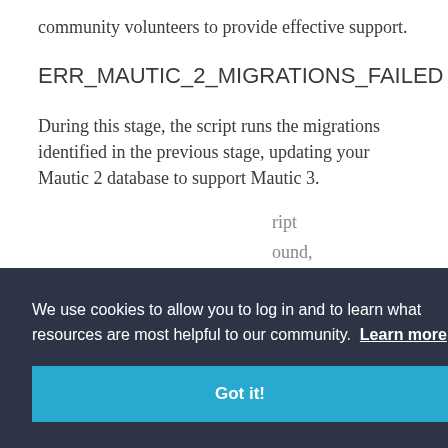community volunteers to provide effective support.
ERR_MAUTIC_2_MIGRATIONS_FAILED
During this stage, the script runs the migrations identified in the previous stage, updating your Mautic 2 database to support Mautic 3.
We use cookies to allow you to log in and to learn what resources are most helpful to our community. Learn more
Got it!
The error message gives you more details about